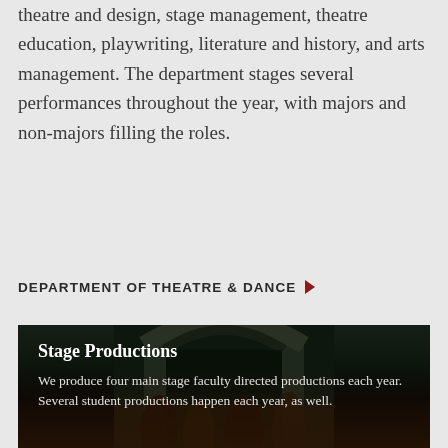theatre and design, stage management, theatre education, playwriting, literature and history, and arts management. The department stages several performances throughout the year, with majors and non-majors filling the roles.
DEPARTMENT OF THEATRE & DANCE ▶
[Figure (photo): Stage production photo showing costumed performers in period costumes on a theatrical stage with arch backdrop. Overlay text reads 'Stage Productions' and 'We produce four main stage faculty directed productions each year. Several student productions happen each year, as well.']